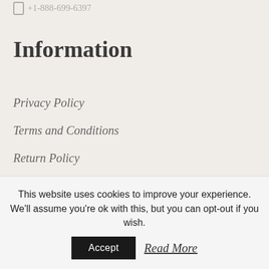+1-888-699-6397
Information
Privacy Policy
Terms and Conditions
Return Policy
Shopping Guide
This website uses cookies to improve your experience. We'll assume you're ok with this, but you can opt-out if you wish.
Accept  Read More